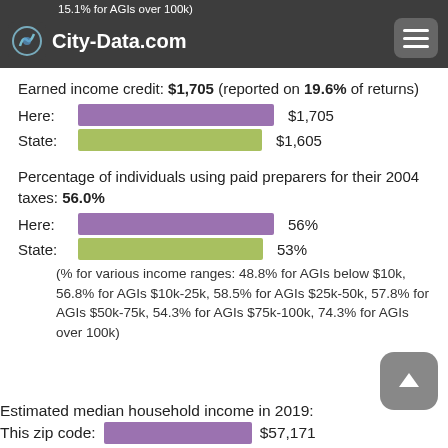City-Data.com — 15.1% for AGIs over 100k
Earned income credit: $1,705 (reported on 19.6% of returns)
[Figure (bar-chart): Earned income credit]
Percentage of individuals using paid preparers for their 2004 taxes: 56.0%
[Figure (bar-chart): Paid preparers percentage]
(% for various income ranges: 48.8% for AGIs below $10k, 56.8% for AGIs $10k-25k, 58.5% for AGIs $25k-50k, 57.8% for AGIs $50k-75k, 54.3% for AGIs $75k-100k, 74.3% for AGIs over 100k)
Estimated median household income in 2019:
This zip code: $57,171